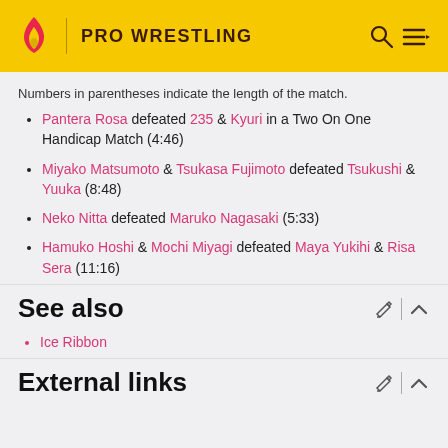PRO WRESTLING
Numbers in parentheses indicate the length of the match.
Pantera Rosa defeated 235 & Kyuri in a Two On One Handicap Match (4:46)
Miyako Matsumoto & Tsukasa Fujimoto defeated Tsukushi & Yuuka (8:48)
Neko Nitta defeated Maruko Nagasaki (5:33)
Hamuko Hoshi & Mochi Miyagi defeated Maya Yukihi & Risa Sera (11:16)
See also
Ice Ribbon
External links